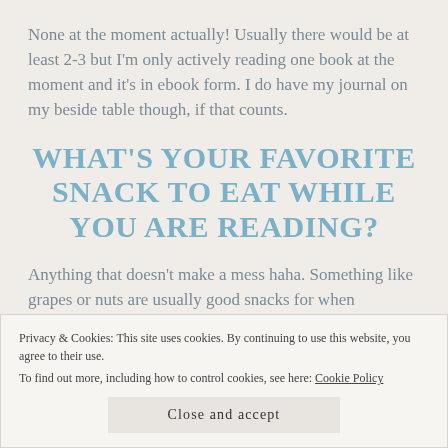None at the moment actually! Usually there would be at least 2-3 but I'm only actively reading one book at the moment and it's in ebook form. I do have my journal on my beside table though, if that counts.
WHAT'S YOUR FAVORITE SNACK TO EAT WHILE YOU ARE READING?
Anything that doesn't make a mess haha. Something like grapes or nuts are usually good snacks for when
Privacy & Cookies: This site uses cookies. By continuing to use this website, you agree to their use.
To find out more, including how to control cookies, see here: Cookie Policy
Close and accept